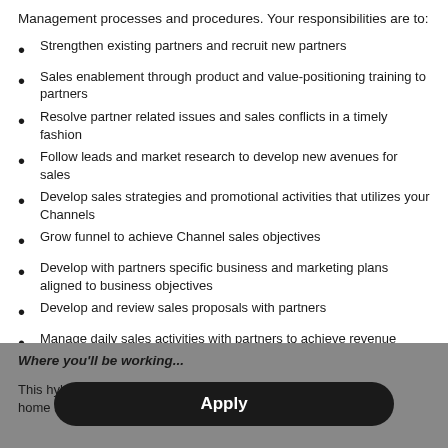Management processes and procedures. Your responsibilities are to:
Strengthen existing partners and recruit new partners
Sales enablement through product and value-positioning training to partners
Resolve partner related issues and sales conflicts in a timely fashion
Follow leads and market research to develop new avenues for sales
Develop sales strategies and promotional activities that utilizes your Channels
Grow funnel to achieve Channel sales objectives
Develop with partners specific business and marketing plans aligned to business objectives
Develop and review sales proposals with partners
Manage daily sales activities with partners to achieve revenue objectives
Establish a trust and build 360° feedback relationship with your Channel partners
Where you'll be working...
This hybrid r... ork from home and assi...